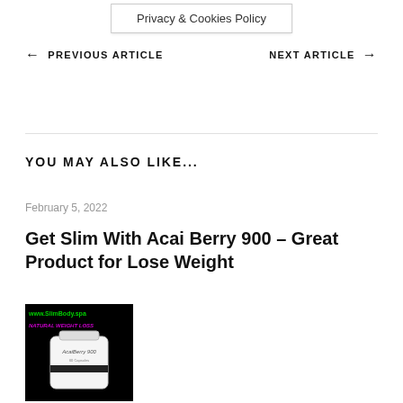Privacy & Cookies Policy
← PREVIOUS ARTICLE    NEXT ARTICLE →
YOU MAY ALSO LIKE...
February 5, 2022
Get Slim With Acai Berry 900 – Great Product for Lose Weight
[Figure (photo): Product image of AcaiBerry 900 supplement bottle on dark background with www.SlimBody.spa and NATURAL WEIGHT LOSS text overlay]